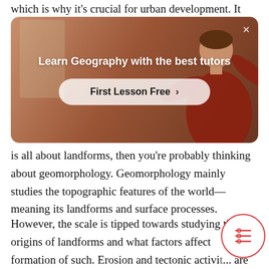which is why it's crucial for urban development. It
[Figure (screenshot): Advertisement banner with a person teaching in a classroom background. Title: 'Learn Geography with the best tutors'. Button: 'First Lesson Free ›'. Close button (×) at top right.]
is all about landforms, then you're probably thinking about geomorphology. Geomorphology mainly studies the topographic features of the world—meaning its landforms and surface processes.
However, the scale is tipped towards studying the origins of landforms and what factors affect formation of such. Erosion and tectonic activity are just some of the topics covered under this sub-